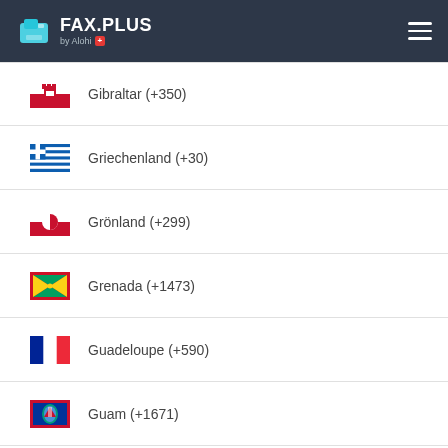FAX.PLUS by Alohi
Gibraltar (+350)
Griechenland (+30)
Grönland (+299)
Grenada (+1473)
Guadeloupe (+590)
Guam (+1671)